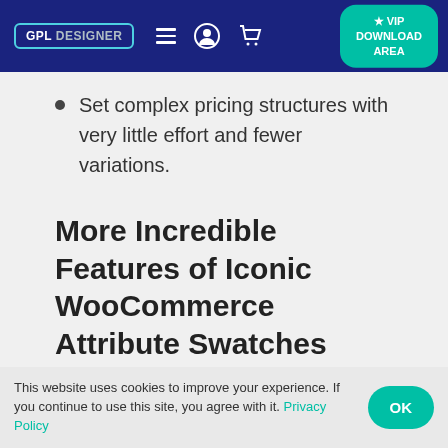GPL DESIGNER | VIP DOWNLOAD AREA
Set complex pricing structures with very little effort and fewer variations.
More Incredible Features of Iconic WooCommerce Attribute Swatches
This website uses cookies to improve your experience. If you continue to use this site, you agree with it. Privacy Policy